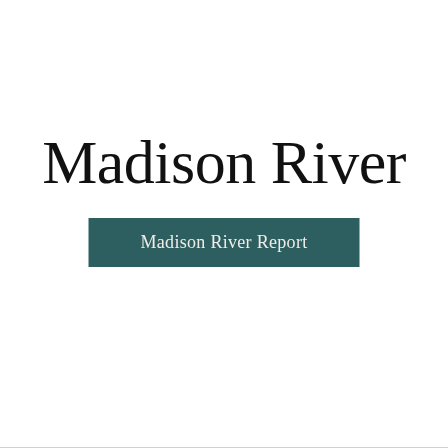Madison River
Madison River Report